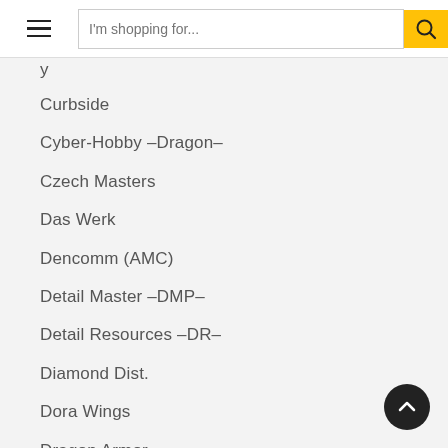[Figure (screenshot): Website header with hamburger menu icon, search input field with placeholder 'I’m shopping for...' and a yellow search button with magnifier icon]
Curbside
Cyber-Hobby -Dragon-
Czech Masters
Das Werk
Dencomm (AMC)
Detail Master -DMP-
Detail Resources -DR-
Diamond Dist.
Dora Wings
Dragon Armor
Dragon Armor -DRA-
Dragon Armor -Dragon-